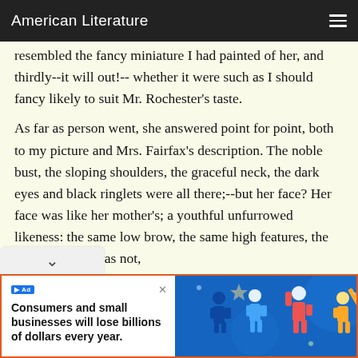American Literature
resembled the fancy miniature I had painted of her, and thirdly--it will out!-- whether it were such as I should fancy likely to suit Mr. Rochester's taste.
As far as person went, she answered point for point, both to my picture and Mrs. Fairfax's description. The noble bust, the sloping shoulders, the graceful neck, the dark eyes and black ringlets were all there;--but her face? Her face was like her mother's; a youthful unfurrowed likeness: the same low brow, the same high features, the same pride. It was not, however, so saturnine a pride! she laughed
[Figure (infographic): Advertisement banner: 'Consumers and small businesses will lose billions of dollars every year.' with illustrated figures on blue background]